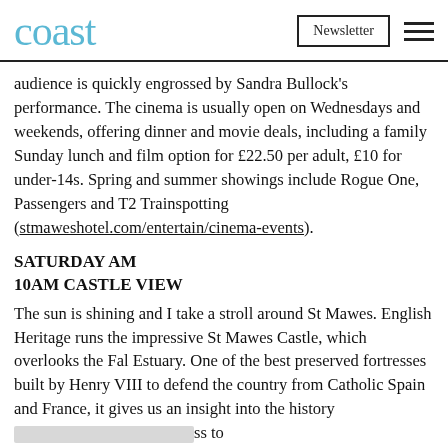coast | Newsletter
audience is quickly engrossed by Sandra Bullock's performance. The cinema is usually open on Wednesdays and weekends, offering dinner and movie deals, including a family Sunday lunch and film option for £22.50 per adult, £10 for under-14s. Spring and summer showings include Rogue One, Passengers and T2 Trainspotting (stmaweshotel.com/entertain/cinema-events).
SATURDAY AM
10AM CASTLE VIEW
The sun is shining and I take a stroll around St Mawes. English Heritage runs the impressive St Mawes Castle, which overlooks the Fal Estuary. One of the best preserved fortresses built by Henry VIII to defend the country from Catholic Spain and France, it gives us an insight into the history of the area and provides access to Penden... summer... ds. The